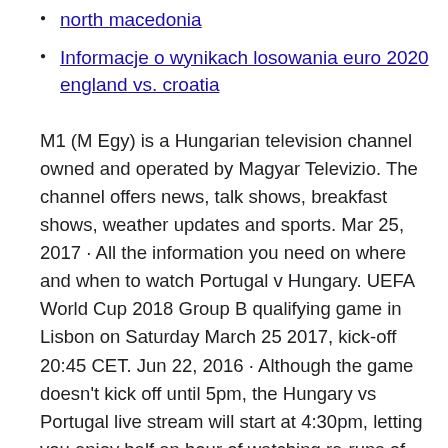north macedonia
Informacje o wynikach losowania euro 2020 england vs. croatia
M1 (M Egy) is a Hungarian television channel owned and operated by Magyar Televizio. The channel offers news, talk shows, breakfast shows, weather updates and sports. Mar 25, 2017 · All the information you need on where and when to watch Portugal v Hungary. UEFA World Cup 2018 Group B qualifying game in Lisbon on Saturday March 25 2017, kick-off 20:45 CET. Jun 22, 2016 · Although the game doesn't kick off until 5pm, the Hungary vs Portugal live stream will start at 4:30pm, letting you enjoy half an hour of watching re-runs of Cristiano Ronaldo's penalty miss from Hungary vs Portugal: TV channel, live stream, team news &